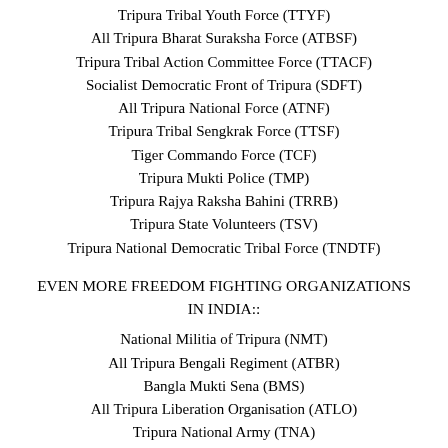Tripura Tribal Youth Force (TTYF)
All Tripura Bharat Suraksha Force (ATBSF)
Tripura Tribal Action Committee Force (TTACF)
Socialist Democratic Front of Tripura (SDFT)
All Tripura National Force (ATNF)
Tripura Tribal Sengkrak Force (TTSF)
Tiger Commando Force (TCF)
Tripura Mukti Police (TMP)
Tripura Rajya Raksha Bahini (TRRB)
Tripura State Volunteers (TSV)
Tripura National Democratic Tribal Force (TNDTF)
EVEN MORE FREEDOM FIGHTING ORGANIZATIONS IN INDIA::
National Militia of Tripura (NMT)
All Tripura Bengali Regiment (ATBR)
Bangla Mukti Sena (BMS)
All Tripura Liberation Organisation (ATLO)
Tripura National Army (TNA)
Tripura State Volunteers (TSV)
Borok National Council of Tripura (BNCT)
Mizoram
Bru National Liberation Front
Hmar People's Convention- Democracy (HPC-D)